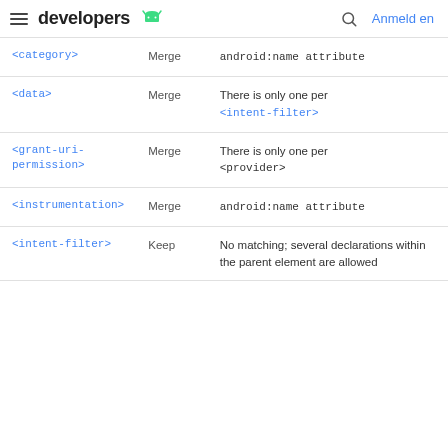developers [android logo] Anmelden
| <category> | Merge | android:name attribute |
| <data> | Merge | There is only one per <intent-filter> |
| <grant-uri-permission> | Merge | There is only one per <provider> |
| <instrumentation> | Merge | android:name attribute |
| <intent-filter> | Keep | No matching; several declarations within the parent element are allowed |